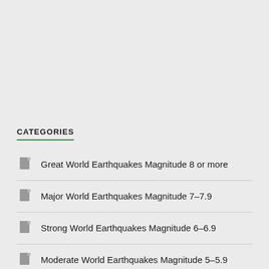CATEGORIES
Great World Earthquakes Magnitude 8 or more
Major World Earthquakes Magnitude 7–7.9
Strong World Earthquakes Magnitude 6–6.9
Moderate World Earthquakes Magnitude 5–5.9
Light World Earthquakes Magnitude 4-4.9